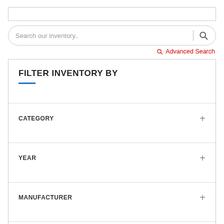Search our inventory..
Advanced Search
FILTER INVENTORY BY
CATEGORY +
YEAR +
MANUFACTURER +
BODY TYPE +